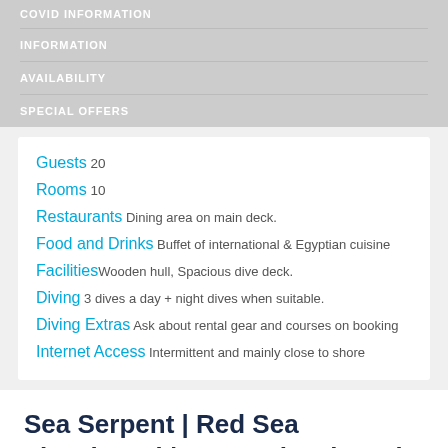COVID INFORMATION
INFORMATION
AVAILABILITY
SPECIAL OFFERS
Guests 20
Rooms 10
Restaurants Dining area on main deck.
Food and Drinks Buffet of international & Egyptian cuisine
Facilities Wooden hull, Spacious dive deck.
Diving 3 dives a day + night dives when suitable.
Diving Extras Ask about rental gear and courses on booking
Internet Access Intermittent and mainly close to shore
Sea Serpent | Red Sea Liveaboard | Egypt Liveaboard
Sea Serpent is just one of our leading luxury liveaboards